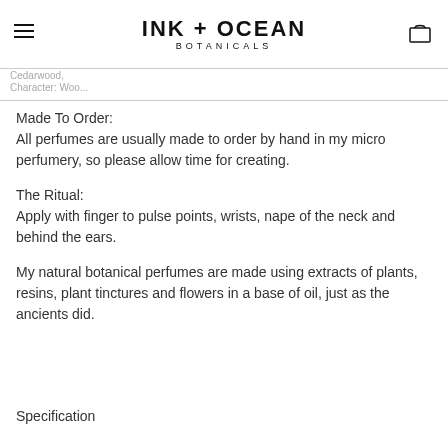INK + OCEAN BOTANICALS
Cedarwood,
Character: Woo...
Made To Order:
All perfumes are usually made to order by hand in my micro perfumery, so please allow time for creating.
The Ritual:
Apply with finger to pulse points, wrists, nape of the neck and behind the ears.
My natural botanical perfumes are made using extracts of plants, resins, plant tinctures and flowers in a base of oil, just as the ancients did.
Specification